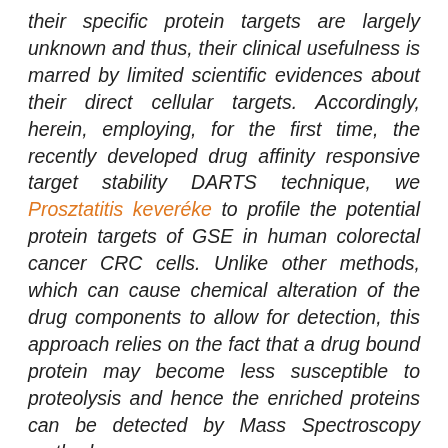their specific protein targets are largely unknown and thus, their clinical usefulness is marred by limited scientific evidences about their direct cellular targets. Accordingly, herein, employing, for the first time, the recently developed drug affinity responsive target stability DARTS technique, we Prosztatitis keveréke to profile the potential protein targets of GSE in human colorectal cancer CRC cells. Unlike other methods, which can cause chemical alteration of the drug components to allow for detection, this approach relies on the fact that a drug bound protein may become less susceptible to proteolysis and hence the enriched proteins can be detected by Mass Spectroscopy methods.
Given that essential fatty acids play a primary